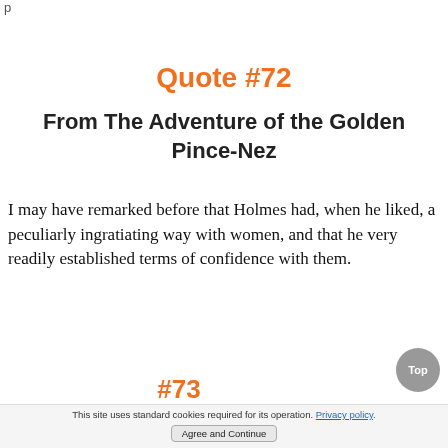p
Quote #72
From The Adventure of the Golden Pince-Nez
I may have remarked before that Holmes had, when he liked, a peculiarly ingratiating way with women, and that he very readily established terms of confidence with them.
#73
This site uses standard cookies required for its operation. Privacy policy. Agree and Continue